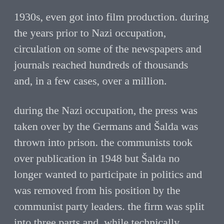1930s, even got into film production. during the years prior to Nazi occupation, circulation on some of the newspapers and journals reached hundreds of thousands and, in a few cases, over a million.
during the Nazi occupation, the press was taken over by the Germans and Šalda was thrown into prison. the communists took over publication in 1948 but Šalda no longer wanted to participate in politics and was removed from his position by the communist party leaders. the firm was split into three parts and, while technically owned by the state, the party ran publication. this odd arrangement resulted in protracted legal battles during the 1990s and,